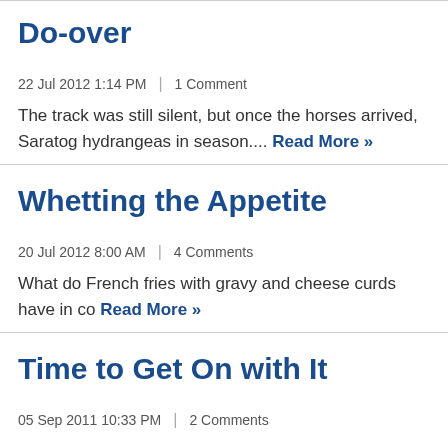Do-over
22 Jul 2012 1:14 PM  |  1 Comment
The track was still silent, but once the horses arrived, Saratog hydrangeas in season.... Read More »
Whetting the Appetite
20 Jul 2012 8:00 AM  |  4 Comments
What do French fries with gravy and cheese curds have in co Read More »
Time to Get On with It
05 Sep 2011 10:33 PM  |  2 Comments